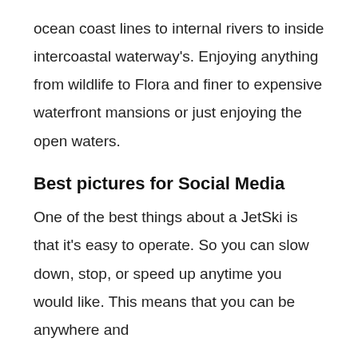ocean coast lines to internal rivers to inside intercoastal waterway's. Enjoying anything from wildlife to Flora and finer to expensive waterfront mansions or just enjoying the open waters.
Best pictures for Social Media
One of the best things about a JetSki is that it's easy to operate. So you can slow down, stop, or speed up anytime you would like. This means that you can be anywhere and